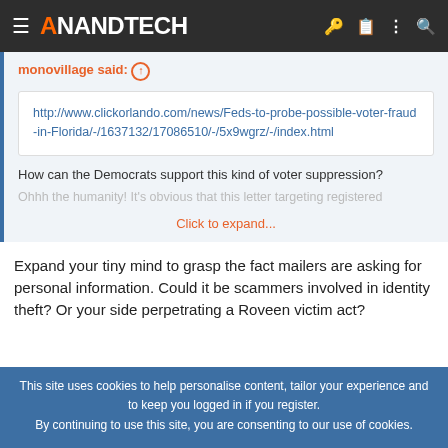AnandTech
monovillage said: ↑
http://www.clickorlando.com/news/Feds-to-probe-possible-voter-fraud-in-Florida/-/1637132/17086510/-/5x9wgrz/-/index.html
How can the Democrats support this kind of voter suppression?
Ohhh the humanity! It's obvious that this letter targeting registered
Click to expand...
Expand your tiny mind to grasp the fact mailers are asking for personal information. Could it be scammers involved in identity theft? Or your side perpetrating a Roveen victim act?
This site uses cookies to help personalise content, tailor your experience and to keep you logged in if you register.
By continuing to use this site, you are consenting to our use of cookies.